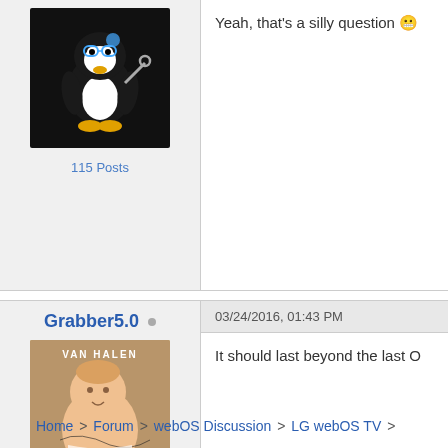[Figure (illustration): Tux Linux penguin mascot with goggles holding a wrench, black background]
115 Posts
Yeah, that's a silly question
Grabber5.0
[Figure (photo): Van Halen album cover (1984) showing a baby angel smoking a cigarette, signed]
5,654 Posts
6,864 Global Posts
03/24/2016, 01:43 PM
It should last beyond the last O
Matt Williams
Grabber Software
*How to install .patch files on your d
Home > Forum > webOS Discussion > LG webOS TV >